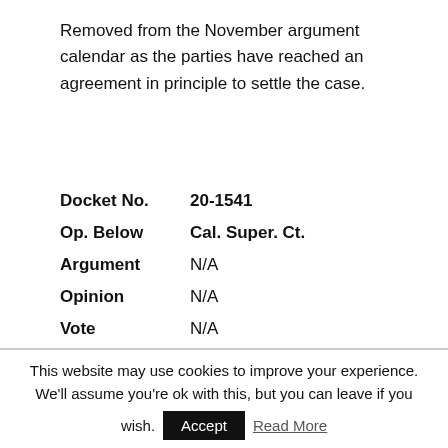Removed from the November argument calendar as the parties have reached an agreement in principle to settle the case.
| Docket No. | 20-1541 |
| Op. Below | Cal. Super. Ct. |
| Argument | N/A |
| Opinion | N/A |
| Vote | N/A |
| Author | N/A |
| Term | OT 2021 |
This website may use cookies to improve your experience. We'll assume you're ok with this, but you can leave if you wish. Accept Read More